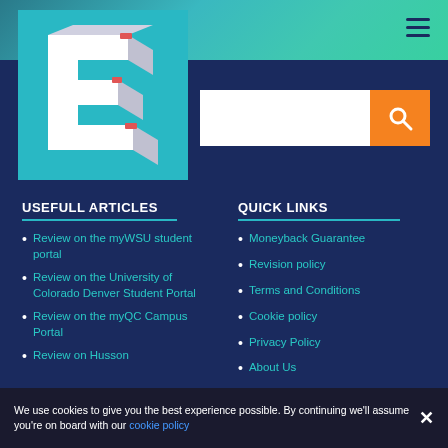[Figure (logo): 3D letter E logo on teal/cyan background square]
USEFULL ARTICLES
Review on the myWSU student portal
Review on the University of Colorado Denver Student Portal
Review on the myQC Campus Portal
Review on Husson
QUICK LINKS
Moneyback Guarantee
Revision policy
Terms and Conditions
Cookie policy
Privacy Policy
About Us
Contact
Plagiarism checker
We use cookies to give you the best experience possible. By continuing we'll assume you're on board with our cookie policy